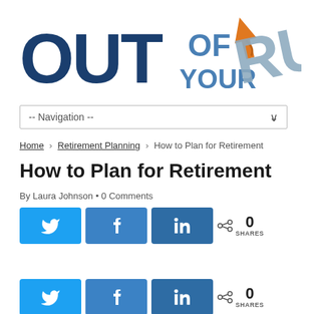[Figure (logo): Out of Your Rut logo with orange arrow, blue and steel-blue lettering]
-- Navigation --
Home › Retirement Planning › How to Plan for Retirement
How to Plan for Retirement
By Laura Johnson • 0 Comments
[Figure (infographic): Social share buttons: Twitter, Facebook, LinkedIn with 0 SHARES count]
[Figure (infographic): Social share buttons (bottom row): Twitter, Facebook, LinkedIn with 0 SHARES count]